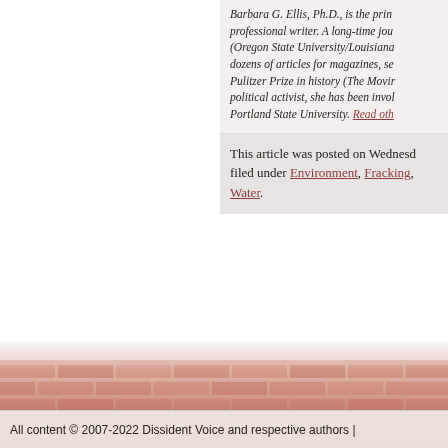Barbara G. Ellis, Ph.D., is the principal professional writer. A long-time journalist (Oregon State University/Louisiana...) dozens of articles for magazines, se... Pulitzer Prize in history (The Movir... political activist, she has been invol... Portland State University. Read oth...
This article was posted on Wednesday filed under Environment, Fracking, Water.
[Figure (photo): Decorative brick/rock texture image spanning bottom of page]
All content © 2007-2022 Dissident Voice and respective authors |